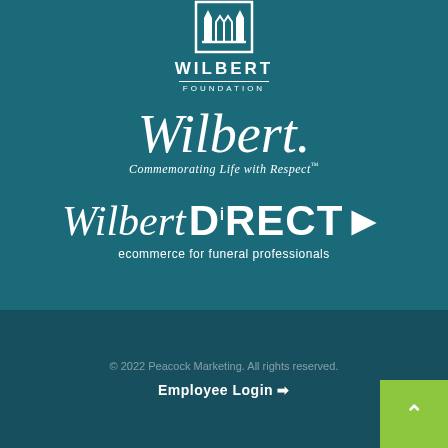[Figure (logo): Wilbert Foundation logo with geometric monument icon, 'WILBERT' in bold caps, horizontal rule, and 'FOUNDATION' in spaced caps, all in white on teal background]
[Figure (logo): Wilbert script logo in italic cursive white text with registered trademark symbol, and tagline 'Commemorating Life with Respect' in italic serif below]
[Figure (logo): Wilbert DIRECT logo combining italic cursive 'Wilbert' with bold 'DIRECT' and arrow, plus tagline 'ecommerce for funeral professionals' in white]
© 2022 Peacock Marketing. All rights reserved.
Employee Login →